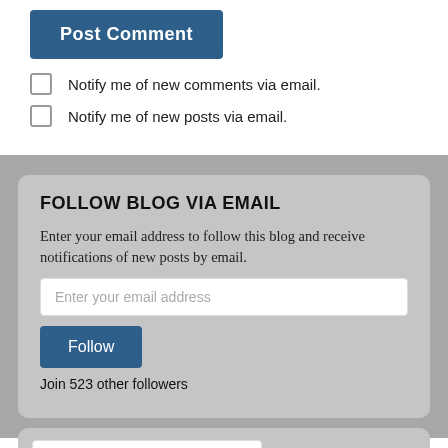[Figure (screenshot): Blue 'Post Comment' button]
Notify me of new comments via email.
Notify me of new posts via email.
FOLLOW BLOG VIA EMAIL
Enter your email address to follow this blog and receive notifications of new posts by email.
[Figure (screenshot): Email input field with placeholder 'Enter your email address']
[Figure (screenshot): Blue 'Follow' button]
Join 523 other followers
[Figure (screenshot): Search input field with placeholder 'Search ...']